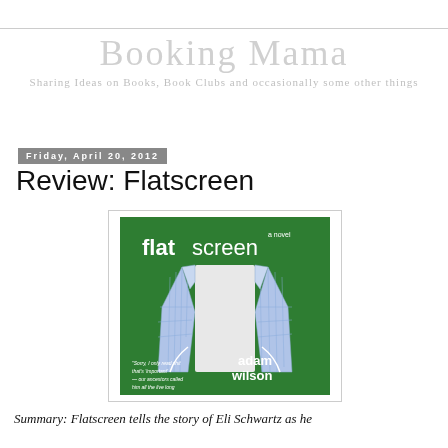Booking Mama — Sharing Ideas on Books, Book Clubs and occasionally some other things
Friday, April 20, 2012
Review: Flatscreen
[Figure (photo): Book cover of 'flatscreen a novel' by adam wilson. Green background with an illustrated plaid bathrobe/jacket. White text for title and author name. Small quote text at bottom left.]
Summary: Flatscreen tells the story of Eli Schwartz as he